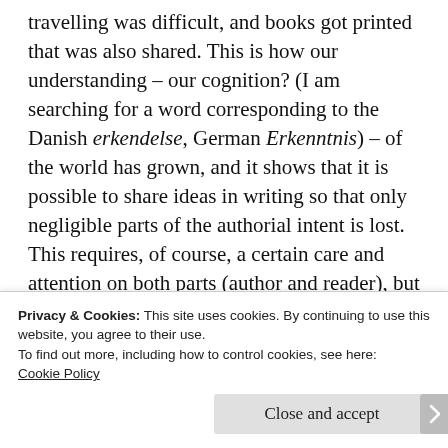travelling was difficult, and books got printed that was also shared. This is how our understanding – our cognition? (I am searching for a word corresponding to the Danish erkendelse, German Erkenntnis) – of the world has grown, and it shows that it is possible to share ideas in writing so that only negligible parts of the authorial intent is lost. This requires, of course, a certain care and attention on both parts (author and reader), but it is possible. I
Privacy & Cookies: This site uses cookies. By continuing to use this website, you agree to their use.
To find out more, including how to control cookies, see here: Cookie Policy
Close and accept